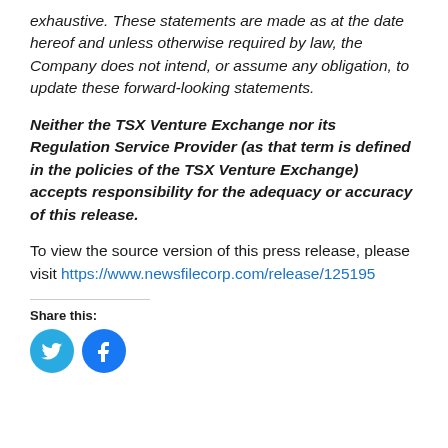exhaustive. These statements are made as at the date hereof and unless otherwise required by law, the Company does not intend, or assume any obligation, to update these forward-looking statements.
Neither the TSX Venture Exchange nor its Regulation Service Provider (as that term is defined in the policies of the TSX Venture Exchange) accepts responsibility for the adequacy or accuracy of this release.
To view the source version of this press release, please visit https://www.newsfilecorp.com/release/125195
Share this: